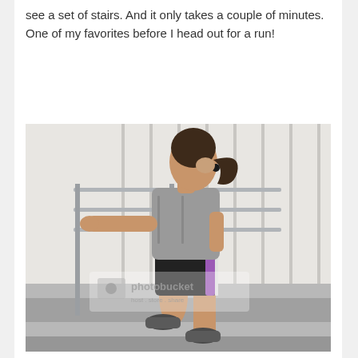see a set of stairs. And it only takes a couple of minutes. One of my favorites before I head out for a run!
[Figure (photo): A woman in athletic wear (gray t-shirt, black and purple running shorts, sneakers) climbing stairs while holding a metal railing, viewed from the side. The image has a Photobucket watermark.]